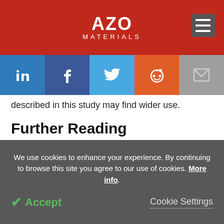AZO MATERIALS
described in this study may find wider use.
Further Reading
Chen, L.-Y.; Liu, Y.-T.; Xuan, H.-N.; Zhao, C.-H.; Bobrov, M.; Zang, Q.-H.; Peng, J.-H.; Lu, S.; Zhang, L.-C. A New Method for Evaluating the Bond Strength of Plasma-
We use cookies to enhance your experience. By continuing to browse this site you agree to our use of cookies. More info. Accept Cookie Settings